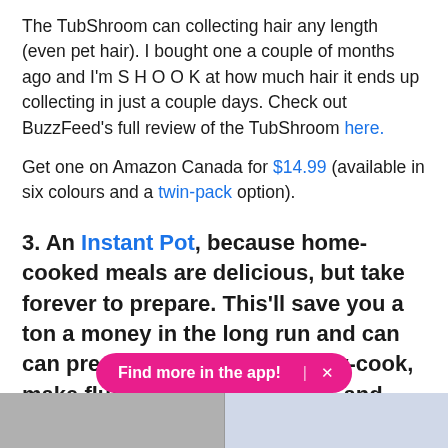The TubShroom can collecting hair any length (even pet hair). I bought one a couple of months ago and I'm S H O O K at how much hair it ends up collecting in just a couple days. Check out BuzzFeed's full review of the TubShroom here.
Get one on Amazon Canada for $14.99 (available in six colours and a twin-pack option).
3. An Instant Pot, because home-cooked meals are delicious, but take forever to prepare. This'll save you a ton a money in the long run and can can pressure-cook, sauté, slow-cook, make fluffy rice, steam things, and warm up your food.
[Figure (photo): Bottom strip showing two photos partially visible — left shows a dark cooking pot, right shows a blue background.]